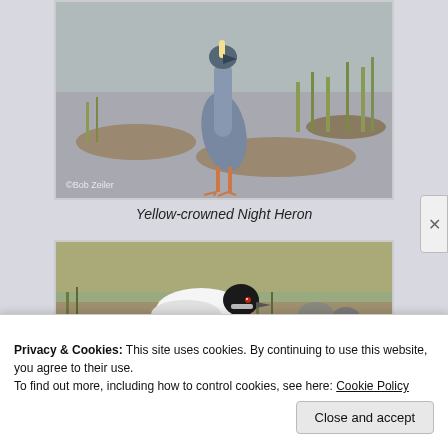[Figure (photo): Photograph of a Yellow-crowned Night Heron standing in a wetland/mudflat, watermarked '©Bob Zeiler']
Yellow-crowned Night Heron
[Figure (photo): Photograph of a bird (duck or loon) swimming in shallow water among vegetation]
Privacy & Cookies: This site uses cookies. By continuing to use this website, you agree to their use.
To find out more, including how to control cookies, see here: Cookie Policy